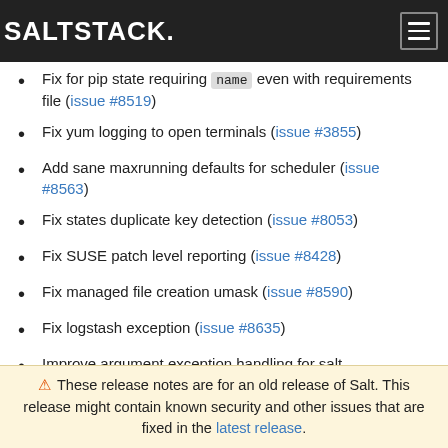SALTSTACK.
Fix for pip state requiring name even with requirements file (issue #8519)
Fix yum logging to open terminals (issue #3855)
Add sane maxrunning defaults for scheduler (issue #8563)
Fix states duplicate key detection (issue #8053)
Fix SUSE patch level reporting (issue #8428)
Fix managed file creation umask (issue #8590)
Fix logstash exception (issue #8635)
Improve argument exception handling for salt
⚠ These release notes are for an old release of Salt. This release might contain known security and other issues that are fixed in the latest release.